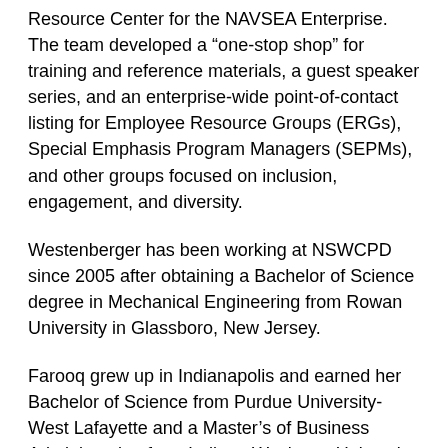Resource Center for the NAVSEA Enterprise. The team developed a "one-stop shop" for training and reference materials, a guest speaker series, and an enterprise-wide point-of-contact listing for Employee Resource Groups (ERGs), Special Emphasis Program Managers (SEPMs), and other groups focused on inclusion, engagement, and diversity.
Westenberger has been working at NSWCPD since 2005 after obtaining a Bachelor of Science degree in Mechanical Engineering from Rowan University in Glassboro, New Jersey.
Farooq grew up in Indianapolis and earned her Bachelor of Science from Purdue University-West Lafayette and a Master's of Business Administration from Indiana Wesleyan University. She joined NSWCPD in 2018 and serves as the Contracting Officer Representative (COR) Supervisor for the Cybersecure Hull Mechanical & Electrical Control Systems & Networks Department.